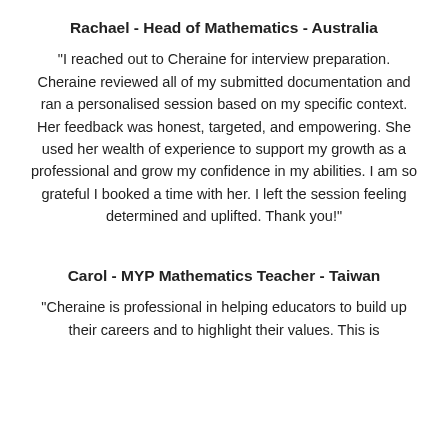Rachael - Head of Mathematics - Australia
"I reached out to Cheraine for interview preparation. Cheraine reviewed all of my submitted documentation and ran a personalised session based on my specific context. Her feedback was honest, targeted, and empowering. She used her wealth of experience to support my growth as a professional and grow my confidence in my abilities. I am so grateful I booked a time with her. I left the session feeling determined and uplifted. Thank you!"
Carol - MYP Mathematics Teacher - Taiwan
"Cheraine is professional in helping educators to build up their careers and to highlight their values. This is